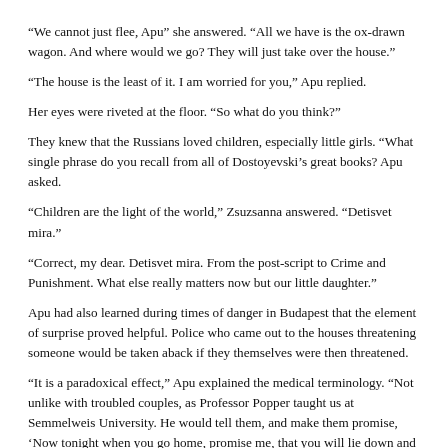“We cannot just flee, Apu” she answered. “All we have is the ox-drawn wagon. And where would we go? They will just take over the house.”
“The house is the least of it. I am worried for you,” Apu replied.
Her eyes were riveted at the floor. “So what do you think?”
They knew that the Russians loved children, especially little girls. “What single phrase do you recall from all of Dostoyevski’s great books? Apu asked.
“Children are the light of the world,” Zsuzsanna answered. “Detisvet mira.”
“Correct, my dear. Detisvet mira. From the post-script to Crime and Punishment. What else really matters now but our little daughter.”
Apu had also learned during times of danger in Budapest that the element of surprise proved helpful. Police who came out to the houses threatening someone would be taken aback if they themselves were then threatened.
“It is a paradoxical effect,” Apu explained the medical terminology. “Not unlike with troubled couples, as Professor Popper taught us at Semmelweis University. He would tell them, and make them promise, ‘Now tonight when you go home, promise me, that you will lie down and